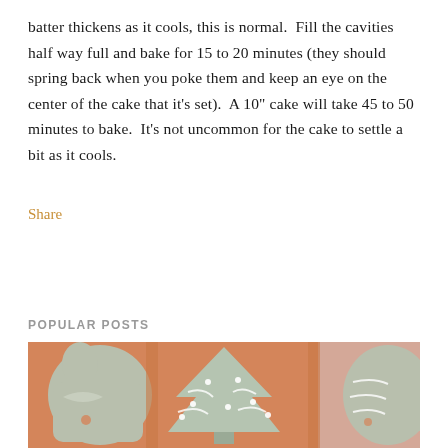batter thickens as it cools, this is normal.  Fill the cavities half way full and bake for 15 to 20 minutes (they should spring back when you poke them and keep an eye on the center of the cake that it's set).  A 10" cake will take 45 to 50 minutes to bake.  It's not uncommon for the cake to settle a bit as it cools.
Share
POPULAR POSTS
[Figure (photo): Photo of decorated cookies shaped like Christmas trees and other shapes, with green and white icing on an orange background.]